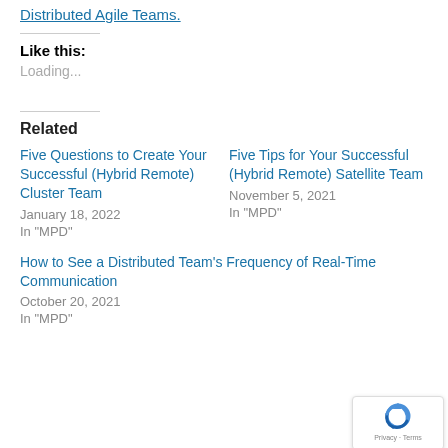Distributed Agile Teams.
Like this:
Loading...
Related
Five Questions to Create Your Successful (Hybrid Remote) Cluster Team
January 18, 2022
In "MPD"
Five Tips for Your Successful (Hybrid Remote) Satellite Team
November 5, 2021
In "MPD"
How to See a Distributed Team's Frequency of Real-Time Communication
October 20, 2021
In "MPD"
[Figure (logo): reCAPTCHA badge with Privacy and Terms text]